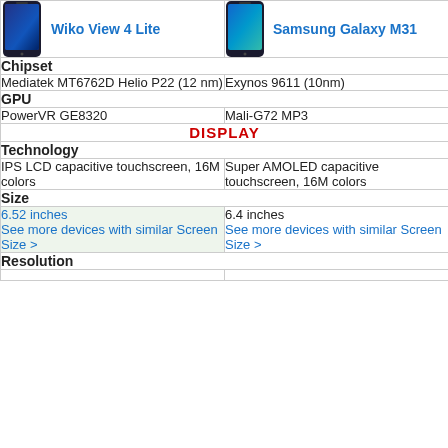| Wiko View 4 Lite | Samsung Galaxy M31 |
| --- | --- |
| Chipset |  |
| Mediatek MT6762D Helio P22 (12 nm) | Exynos 9611 (10nm) |
| GPU |  |
| PowerVR GE8320 | Mali-G72 MP3 |
| DISPLAY |  |
| Technology |  |
| IPS LCD capacitive touchscreen, 16M colors | Super AMOLED capacitive touchscreen, 16M colors |
| Size |  |
| 6.52 inches See more devices with similar Screen Size > | 6.4 inches See more devices with similar Screen Size > |
| Resolution |  |